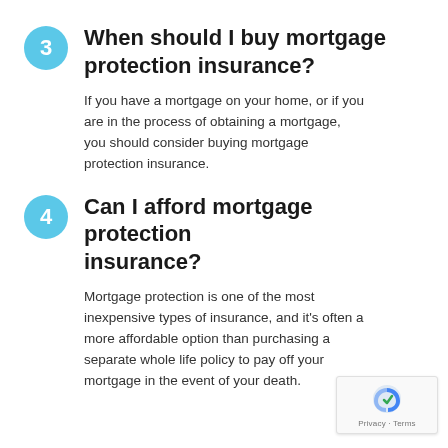When should I buy mortgage protection insurance?
If you have a mortgage on your home, or if you are in the process of obtaining a mortgage, you should consider buying mortgage protection insurance.
Can I afford mortgage protection insurance?
Mortgage protection is one of the most inexpensive types of insurance, and it's often a more affordable option than purchasing a separate whole life policy to pay off your mortgage in the event of your death.
[Figure (logo): reCAPTCHA badge with Privacy and Terms links]